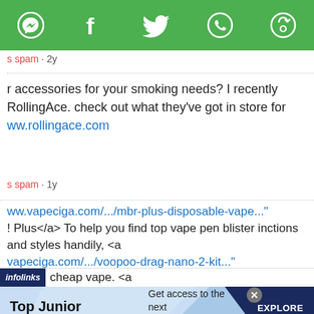[Figure (screenshot): Green social sharing toolbar with icons: Messenger, Facebook, Twitter, WhatsApp, and a rotate/share icon]
s spam · 2y
r accessories for your smoking needs? I recently RollingAce. check out what they've got in store for www.rollingace.com
s spam · 1y
ww.vapeciga.com/.../mbr-plus-disposable-vape..." ! Plus</a> To help you find top vape pen blister inctions and styles handily, <a vapeciga.com/.../voopoo-drag-nano-2-kit..." oo drag kit </a> we tested, compared, and cheap vape. <a
infolinks   cheap vape. <a
[Figure (infographic): Advertisement banner: Top Junior Gold Mining Stock — Get access to the next Top mining "Micro Cap" here! — EXPLORE NOW]